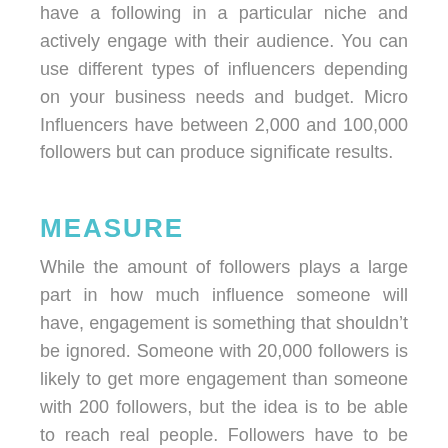have a following in a particular niche and actively engage with their audience. You can use different types of influencers depending on your business needs and budget. Micro Influencers have between 2,000 and 100,000 followers but can produce significate results.
MEASURE
While the amount of followers plays a large part in how much influence someone will have, engagement is something that shouldn't be ignored. Someone with 20,000 followers is likely to get more engagement than someone with 200 followers, but the idea is to be able to reach real people. Followers have to be earned not purchased, and, while bots and unqualified